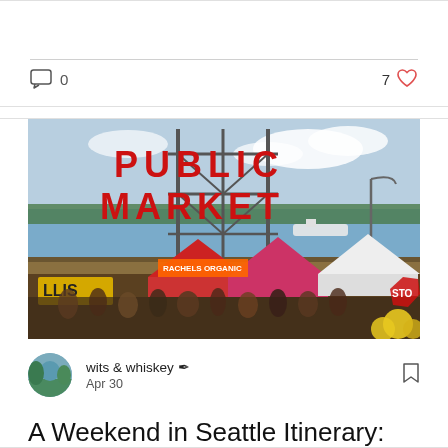[Figure (infographic): Social media blog card top portion showing comment icon with 0 comments and 7 likes with heart icon]
[Figure (photo): Photo of Pike Place Public Market sign in Seattle with crowds and water in background]
wits & whiskey  Apr 30
A Weekend in Seattle Itinerary: Part 2